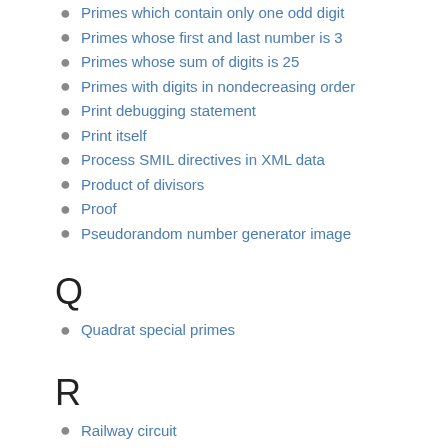Primes which contain only one odd digit
Primes whose first and last number is 3
Primes whose sum of digits is 25
Primes with digits in nondecreasing order
Print debugging statement
Print itself
Process SMIL directives in XML data
Product of divisors
Proof
Pseudorandom number generator image
Q
Quadrat special primes
R
Railway circuit
Ramanujan primes
Ramsey's theorem
Range modifications
Raster bars